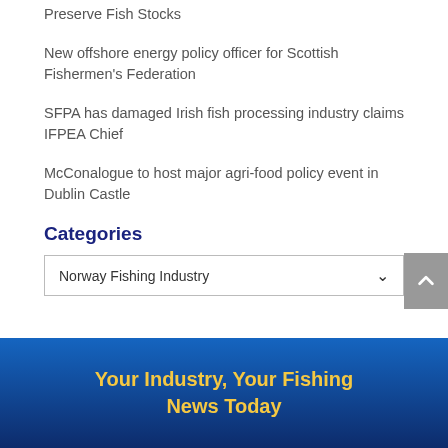Preserve Fish Stocks
New offshore energy policy officer for Scottish Fishermen's Federation
SFPA has damaged Irish fish processing industry claims IFPEA Chief
McConalogue to host major agri-food policy event in Dublin Castle
Categories
Norway Fishing Industry
Your Industry, Your Fishing News Today